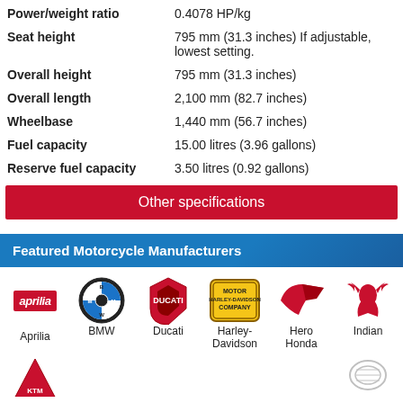| Spec | Value |
| --- | --- |
| Power/weight ratio | 0.4078 HP/kg |
| Seat height | 795 mm (31.3 inches) If adjustable, lowest setting. |
| Overall height | 795 mm (31.3 inches) |
| Overall length | 2,100 mm (82.7 inches) |
| Wheelbase | 1,440 mm (56.7 inches) |
| Fuel capacity | 15.00 litres (3.96 gallons) |
| Reserve fuel capacity | 3.50 litres (0.92 gallons) |
Other specifications
Featured Motorcycle Manufacturers
[Figure (logo): Aprilia logo - red rectangle with italic white text 'aprilia']
[Figure (logo): BMW circular logo with blue and white quadrants and black ring]
[Figure (logo): Ducati red shield logo]
[Figure (logo): Harley-Davidson Motor Company badge logo]
[Figure (logo): Honda wing logo in red]
[Figure (logo): Indian Motorcycle red chief head logo]
Aprilia
BMW
Ducati
Harley-Davidson
Hero Honda
Indian
[Figure (logo): Partial logo at bottom left (red shape, likely KTM or Kawasaki)]
[Figure (logo): Partial logo at bottom right (likely another manufacturer)]